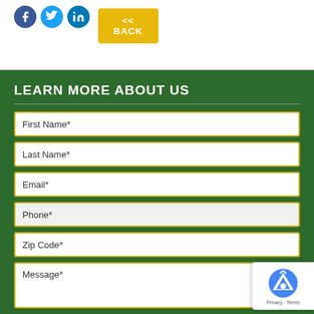[Figure (other): Social media icons (Facebook, Twitter, LinkedIn) and a yellow back button with text << BACK]
LEARN MORE ABOUT US
First Name*
Last Name*
Email*
Phone*
Zip Code*
Message*